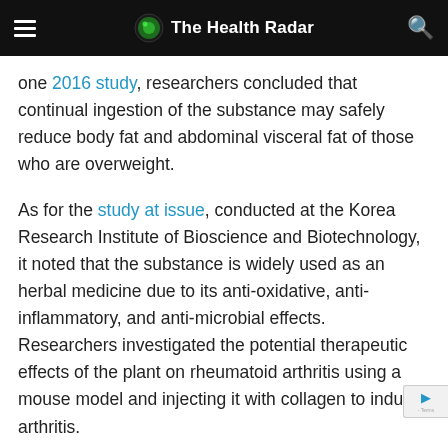The Health Radar
one 2016 study, researchers concluded that continual ingestion of the substance may safely reduce body fat and abdominal visceral fat of those who are overweight.
As for the study at issue, conducted at the Korea Research Institute of Bioscience and Biotechnology, it noted that the substance is widely used as an herbal medicine due to its anti-oxidative, anti-inflammatory, and anti-microbial effects. Researchers investigated the potential therapeutic effects of the plant on rheumatoid arthritis using a mouse model and injecting it with collagen to induce arthritis.
The researchers noticed over the 21-day course of the study, the Humulus japonicus extract significantly decreased the gross arthritic sores